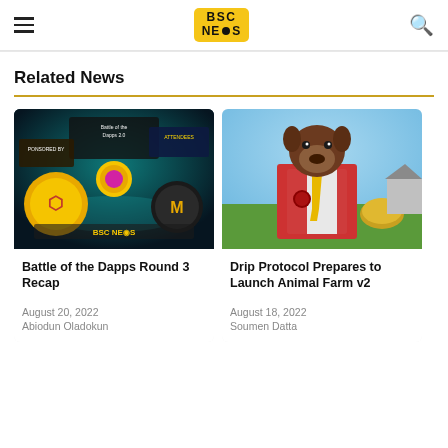BSC NEWS
Related News
[Figure (illustration): Battle of the Dapps Round 3 virtual event screenshot with animated characters in a boxing ring setting with BSC News branding]
Battle of the Dapps Round 3 Recap
August 20, 2022
Abiodun Oladokun
[Figure (illustration): Drip Protocol animated dog character in red vest and yellow tie in a farm setting]
Drip Protocol Prepares to Launch Animal Farm v2
August 18, 2022
Soumen Datta